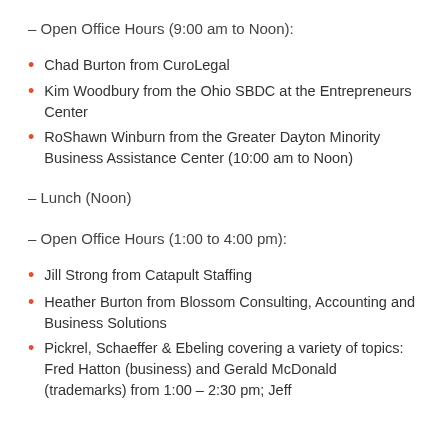– Open Office Hours (9:00 am to Noon):
Chad Burton from CuroLegal
Kim Woodbury from the Ohio SBDC at the Entrepreneurs Center
RoShawn Winburn from the Greater Dayton Minority Business Assistance Center (10:00 am to Noon)
– Lunch (Noon)
– Open Office Hours (1:00 to 4:00 pm):
Jill Strong from Catapult Staffing
Heather Burton from Blossom Consulting, Accounting and Business Solutions
Pickrel, Schaeffer & Ebeling covering a variety of topics: Fred Hatton (business) and Gerald McDonald (trademarks) from 1:00 – 2:30 pm; Jeff